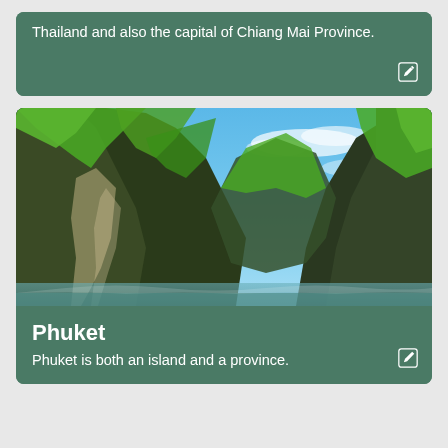Thailand and also the capital of Chiang Mai Province.
[Figure (photo): Tall limestone karst cliffs covered in lush green vegetation against a bright blue sky with wispy clouds, seen from water level — a scene typical of Phang Nga Bay or Krabi area near Phuket, Thailand.]
Phuket
Phuket is both an island and a province.